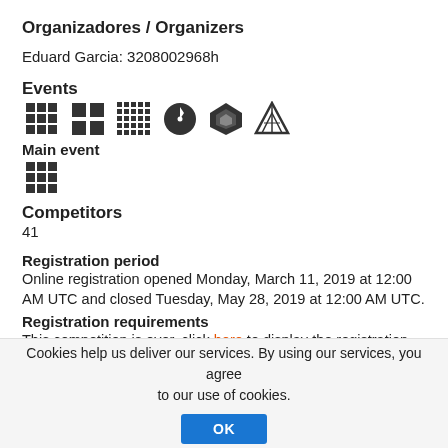Organizadores / Organizers
Eduard Garcia: 3208002968h
Events
[Figure (illustration): Six event icons: 3x3 grid, 2x2 grid, 4x4 grid, clock/timer circle, flower/cube icon, pyramid icon]
Main event
[Figure (illustration): One 3x3 grid icon representing the main event (3x3x3 cube)]
Competitors
41
Registration period
Online registration opened Monday, March 11, 2019 at 12:00 AM UTC and closed Tuesday, May 28, 2019 at 12:00 AM UTC.
Registration requirements
This competition is over, click here to display the registration requirements it used.
Cookies help us deliver our services. By using our services, you agree to our use of cookies.